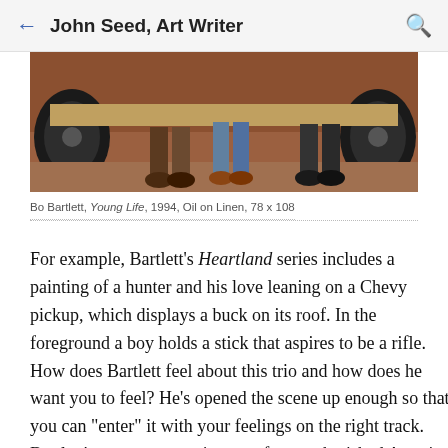John Seed, Art Writer
[Figure (photo): Partial lower portion of a painting showing feet and legs of figures standing near a Chevy pickup truck on dirt ground, vehicle tires visible]
Bo Bartlett, Young Life, 1994, Oil on Linen, 78 x 108
For example, Bartlett’s Heartland series includes a painting of a hunter and his love leaning on a Chevy pickup, which displays a buck on its roof. In the foreground a boy holds a stick that aspires to be a rifle. How does Bartlett feel about this trio and how does he want you to feel? He’s opened the scene up enough so that you can “enter” it with your own feelings on the right track. Bartlett’s canvases are vignettes from a cherished America and American-ness. His life project is to be an artist who will try and keep the American fabric whole by making its realities and myths coalesce into fresh myths.